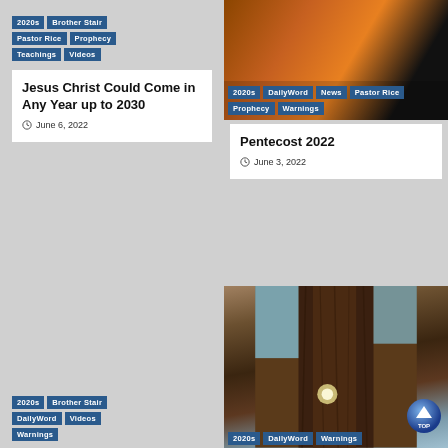2020s | Brother Stair | Pastor Rice | Prophecy | Teachings | Videos
Jesus Christ Could Come in Any Year up to 2030
June 6, 2022
[Figure (photo): Photo with tags: 2020s, DailyWord, News, Pastor Rice, Prophecy, Warnings]
Pentecost 2022
June 3, 2022
2020s | Brother Stair | DailyWord | Videos | Warnings
[Figure (photo): Photo of a tree with a light, showing a TOP button. Tags at bottom: 2020s, DailyWord, Warnings]